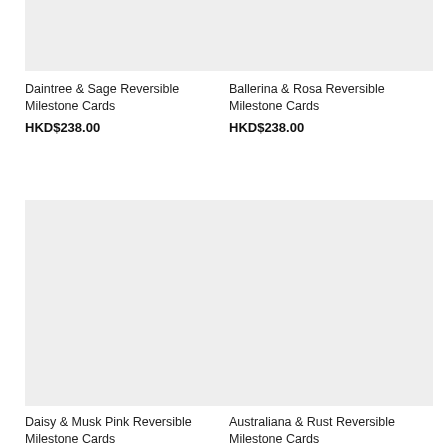[Figure (photo): Product image placeholder for Daintree & Sage Reversible Milestone Cards]
Daintree & Sage Reversible Milestone Cards
HKD$238.00
[Figure (photo): Product image placeholder for Ballerina & Rosa Reversible Milestone Cards]
Ballerina & Rosa Reversible Milestone Cards
HKD$238.00
[Figure (photo): Product image placeholder for Daisy & Musk Pink Reversible Milestone Cards]
Daisy & Musk Pink Reversible Milestone Cards
[Figure (photo): Product image placeholder for Australiana & Rust Reversible Milestone Cards]
Australiana & Rust Reversible Milestone Cards